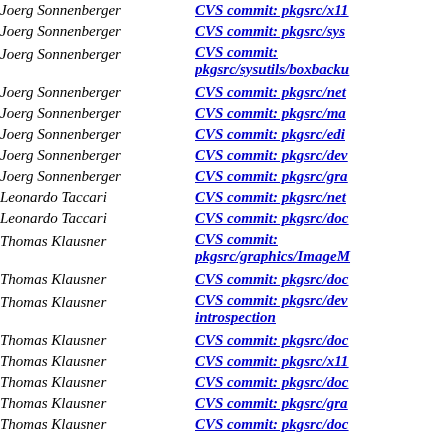Joerg Sonnenberger | CVS commit: pkgsrc/x11
Joerg Sonnenberger | CVS commit: pkgsrc/sys
Joerg Sonnenberger | CVS commit: pkgsrc/sysutils/boxbacku
Joerg Sonnenberger | CVS commit: pkgsrc/net
Joerg Sonnenberger | CVS commit: pkgsrc/ma
Joerg Sonnenberger | CVS commit: pkgsrc/edi
Joerg Sonnenberger | CVS commit: pkgsrc/dev
Joerg Sonnenberger | CVS commit: pkgsrc/gra
Leonardo Taccari | CVS commit: pkgsrc/net
Leonardo Taccari | CVS commit: pkgsrc/doc
Thomas Klausner | CVS commit: pkgsrc/graphics/ImageM
Thomas Klausner | CVS commit: pkgsrc/doc
Thomas Klausner | CVS commit: pkgsrc/dev introspection
Thomas Klausner | CVS commit: pkgsrc/doc
Thomas Klausner | CVS commit: pkgsrc/x11
Thomas Klausner | CVS commit: pkgsrc/doc
Thomas Klausner | CVS commit: pkgsrc/gra
Thomas Klausner | CVS commit: pkgsrc/doc